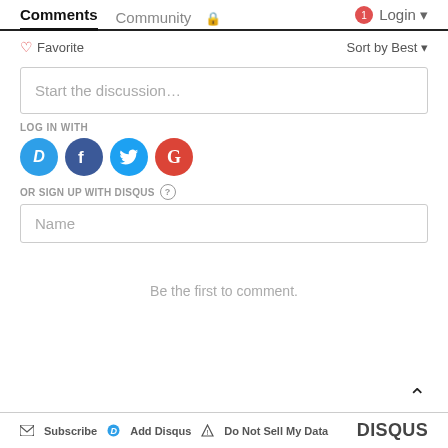Comments  Community  Login
♡ Favorite   Sort by Best
Start the discussion…
LOG IN WITH
[Figure (illustration): Social login icons: Disqus (blue D), Facebook (dark blue F), Twitter (light blue bird), Google (red G)]
OR SIGN UP WITH DISQUS ?
Name
Be the first to comment.
Subscribe  Add Disqus  Do Not Sell My Data  DISQUS